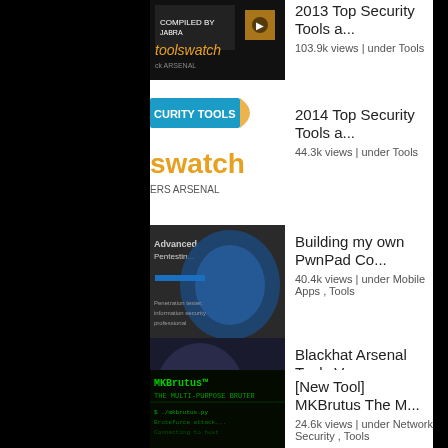2013 Top Security Tools a...
103.9k views | under Tools
2014 Top Security Tools a...
44.3k views | under Tools
Building my own PwnPad Co...
40.4k views | under Mobile Apps , Tools
Blackhat Arsenal Tools Ve...
26.5k views | under Events , Tools , ToolsTube
[New Tool] MKBrutus The M...
24.6k views | under Network Security , Tools